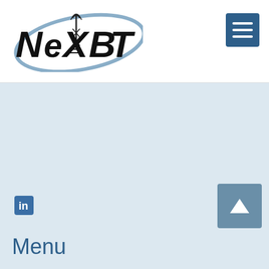[Figure (logo): NexBIT logo with stylized text and cell tower graphic with oval swoosh]
[Figure (other): Hamburger menu button - three horizontal white lines on dark blue/teal square background]
[Figure (other): LinkedIn icon - 'in' logo in blue square]
[Figure (other): Scroll-to-top button - upward triangle/arrow on steel blue square background]
Menu